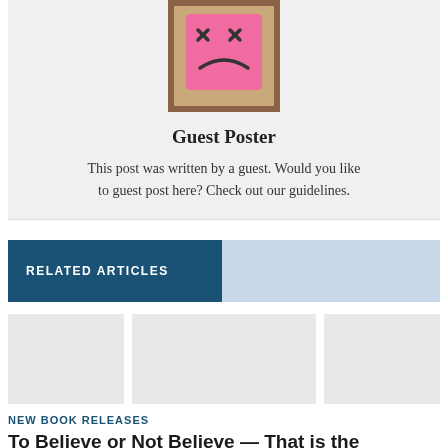[Figure (illustration): Guest poster avatar: a cartoon pink square face with X eyes and a frown, on a brown/beige background]
Guest Poster
This post was written by a guest. Would you like to guest post here? Check out our guidelines.
RELATED ARTICLES
[Figure (photo): Three placeholder thumbnail images for related articles]
NEW BOOK RELEASES
To Believe or Not Believe — That is the